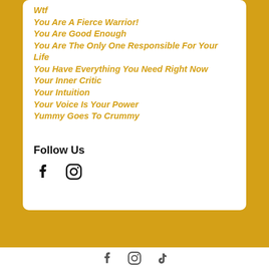Wtf
You Are A Fierce Warrior!
You Are Good Enough
You Are The Only One Responsible For Your Life
You Have Everything You Need Right Now
Your Inner Critic
Your Intuition
Your Voice Is Your Power
Yummy Goes To Crummy
Follow Us
[Figure (illustration): Facebook and Instagram social media icons (black)]
[Figure (illustration): Facebook, Instagram, and TikTok social media icons (black) in page footer]